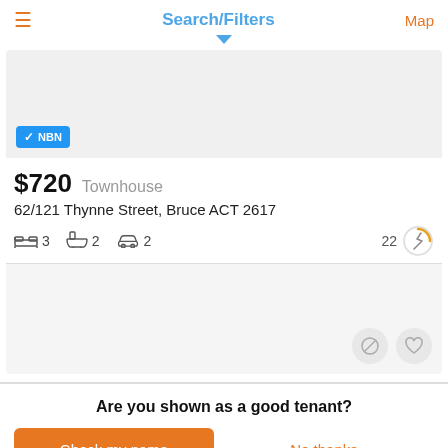Search/Filters
[Figure (screenshot): Property listing image area with NBN badge]
$720  Townhouse
62/121 Thynne Street, Bruce ACT 2617
3 bedrooms, 2 bathrooms, 2 parking, 22 views
[Figure (screenshot): Second listing card area with action buttons (block and heart)]
Are you shown as a good tenant?
Check my name
No thanks